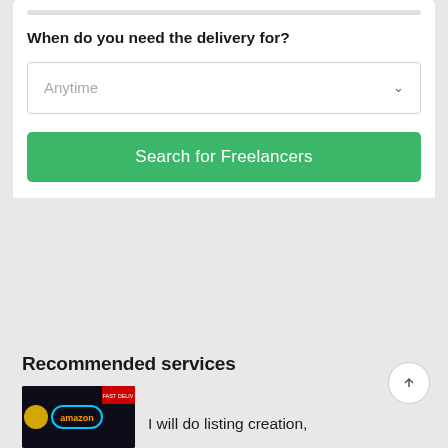When do you need the delivery for?
Anytime
Search for Freelancers
Recommended services
I will do listing creation,